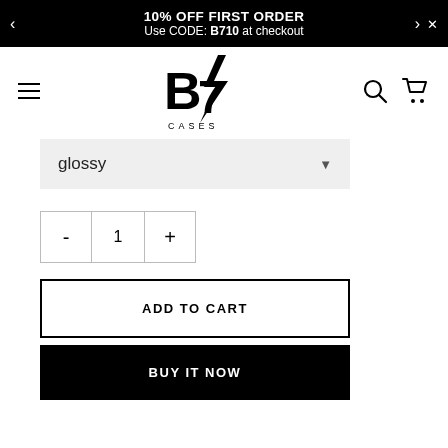10% OFF FIRST ORDER
Use CODE: B710 at checkout
[Figure (logo): B7 Cases logo — stylized B7 with lightning bolt and 'CASES' text below]
[Figure (other): Glossy finish dropdown selector showing 'glossy' option with dropdown arrow]
[Figure (other): Quantity selector with minus, 1, plus buttons]
ADD TO CART
BUY IT NOW